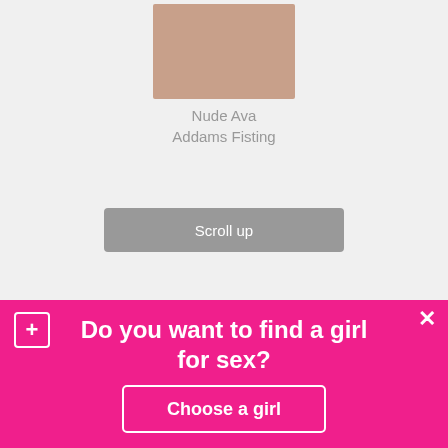[Figure (photo): Thumbnail image placeholder for adult content]
Nude Ava Addams Fisting
Scroll up
Do you want to find a girl for sex?
Choose a girl